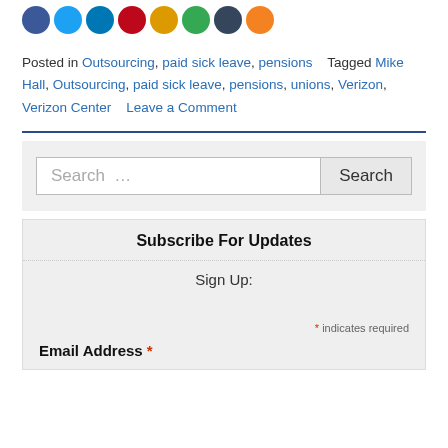[Figure (other): Row of social media sharing icons: Facebook (blue), Twitter (light blue), LinkedIn (dark blue), Pinterest (red), Google+ (orange-red), Email (green), Tumblr (dark blue), and one more orange icon]
Posted in Outsourcing, paid sick leave, pensions   Tagged Mike Hall, Outsourcing, paid sick leave, pensions, unions, Verizon, Verizon Center   Leave a Comment
Search …
Subscribe For Updates
Sign Up:
* indicates required
Email Address *